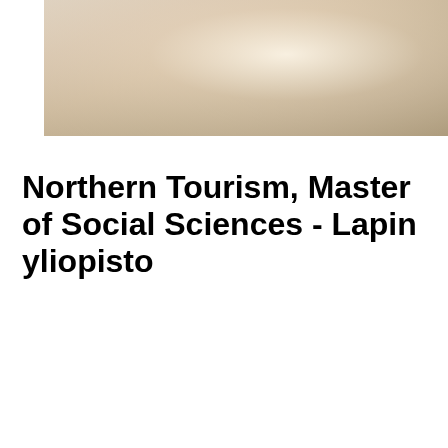[Figure (photo): A misty, hazy outdoor photograph with warm beige and tan tones, appearing to show a foggy sky or landscape.]
Northern Tourism, Master of Social Sciences - Lapin yliopisto
[Figure (photo): A light bluish-grey photograph, appearing to show a pale, overcast sky or misty landscape.]